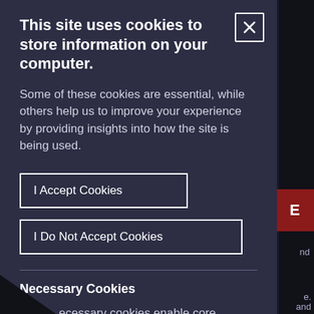This site uses cookies to store information on your computer.
Some of these cookies are essential, while others help us to improve your experience by providing insights into how the site is being used.
I Accept Cookies
I Do Not Accept Cookies
Necessary Cookies
ecessary cookies enable core functionality such as site navigation and access to secure areas.